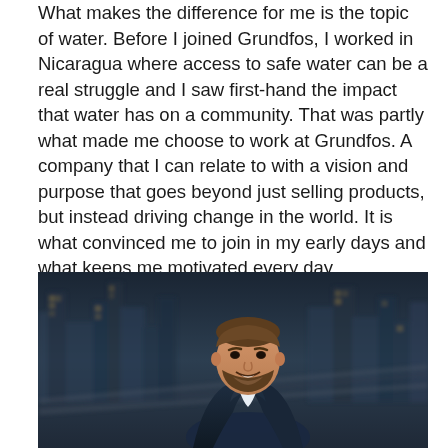What makes the difference for me is the topic of water. Before I joined Grundfos, I worked in Nicaragua where access to safe water can be a real struggle and I saw first-hand the impact that water has on a community. That was partly what made me choose to work at Grundfos. A company that I can relate to with a vision and purpose that goes beyond just selling products, but instead driving change in the world. It is what convinced me to join in my early days and what keeps me motivated every day.
[Figure (photo): A smiling bearded man in a dark navy suit and white shirt, standing in front of a blurred city skyline at dusk/night with urban infrastructure visible in the background.]